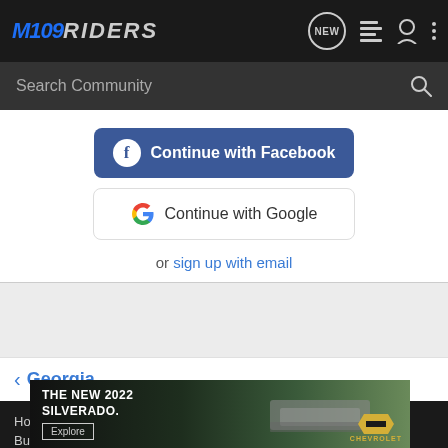M109Riders
Search Community
Continue with Facebook
Continue with Google
or sign up with email
< Georgia
Home  About Us  Terms of Use  Privacy Policy  Help  Business Directory  Contact Us  Grow Y...
[Figure (photo): Chevrolet advertisement banner showing THE NEW 2022 SILVERADO. with Explore button and Chevrolet logo, truck in background]